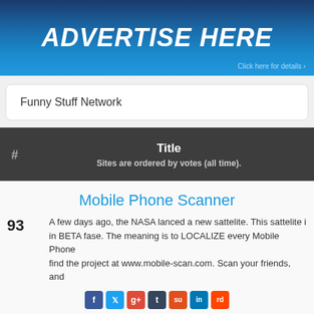[Figure (infographic): Blue gradient banner advertisement reading ADVERTISE HERE with 'Click here for details >' at bottom right]
Funny Stuff Network
| # | Title | Sites are ordered by votes (all time). |
| --- | --- | --- |
Mobile Phone Scanner
93  A few days ago, the NASA lanced a new sattelite. This sattelite is in BETA fase. The meaning is to LOCALIZE every Mobile Phone find the project at www.mobile-scan.com. Scan your friends, and
Idiot
Top Site List Chat